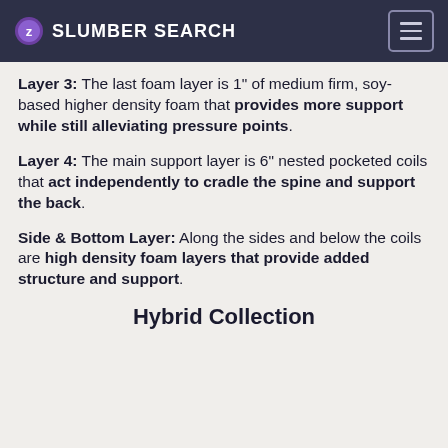SLUMBER SEARCH
Layer 3: The last foam layer is 1" of medium firm, soy-based higher density foam that provides more support while still alleviating pressure points.
Layer 4: The main support layer is 6" nested pocketed coils that act independently to cradle the spine and support the back.
Side & Bottom Layer: Along the sides and below the coils are high density foam layers that provide added structure and support.
Hybrid Collection